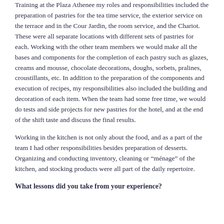Training at the Plaza Athenee my roles and responsibilities included the preparation of pastries for the tea time service, the exterior service on the terrace and in the Cour Jardin, the room service, and the Chariot. These were all separate locations with different sets of pastries for each. Working with the other team members we would make all the bases and components for the completion of each pastry such as glazes, creams and mousse, chocolate decorations, doughs, sorbets, pralines, croustillants, etc. In addition to the preparation of the components and execution of recipes, my responsibilities also included the building and decoration of each item. When the team had some free time, we would do tests and side projects for new pastries for the hotel, and at the end of the shift taste and discuss the final results.
Working in the kitchen is not only about the food, and as a part of the team I had other responsibilities besides preparation of desserts. Organizing and conducting inventory, cleaning or “ménage” of the kitchen, and stocking products were all part of the daily repertoire.
What lessons did you take from your experience?